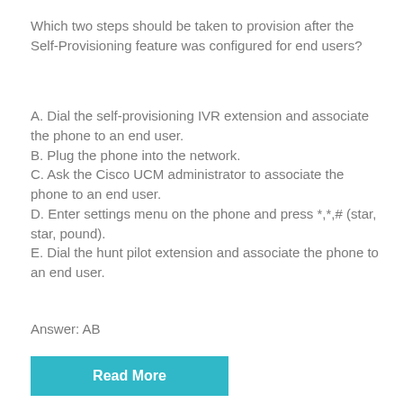Which two steps should be taken to provision after the Self-Provisioning feature was configured for end users?
A. Dial the self-provisioning IVR extension and associate the phone to an end user.
B. Plug the phone into the network.
C. Ask the Cisco UCM administrator to associate the phone to an end user.
D. Enter settings menu on the phone and press *,*,# (star, star, pound).
E. Dial the hunt pilot extension and associate the phone to an end user.
Answer: AB
Read More